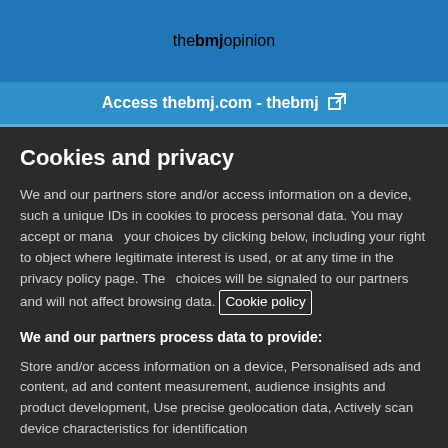thebmjopinion
Access thebmj.com - thebmj
Cookies and privacy
We and our partners store and/or access information on a device, such as unique IDs in cookies to process personal data. You may accept or manage your choices by clicking below, including your right to object where legitimate interest is used, or at any time in the privacy policy page. These choices will be signaled to our partners and will not affect browsing data. Cookie policy
We and our partners process data to provide:
Store and/or access information on a device, Personalised ads and content, ad and content measurement, audience insights and product development, Use precise geolocation data, Actively scan device characteristics for identification
List of Partners (vendors)